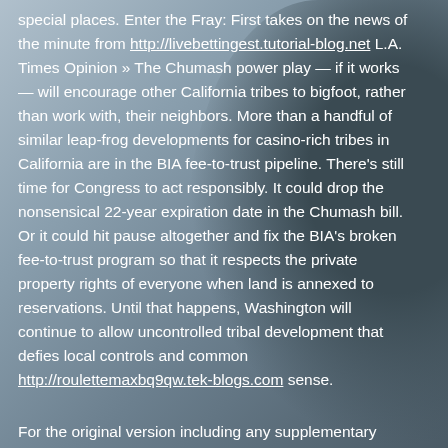special places. Enter the Fray: First takes on the news of the minute from http://livebettingest.tutorial-blog.net L.A. Times Opinion » The Chumash power play — if it works — will encourage other California tribes to bigfoot, rather than work with, their neighbors. More than a handful of similar leap-frog developments for casino-rich tribes in California are in the BIA fee-to-trust pipeline. There's still time for Congress to act responsibly. It could drop the nonsensical 22-year expiration date in the Chumash bill. Or it could hit pause altogether and fix the BIA's broken fee-to-trust program so that it respects the private property rights of everyone when land is annexed to reservations. Until that happens, Washington will continue to allow uncontrolled tribal development that defies local controls and common http://roulettemaxbq9qw.tek-blogs.com sense.
For the original version including any supplementary